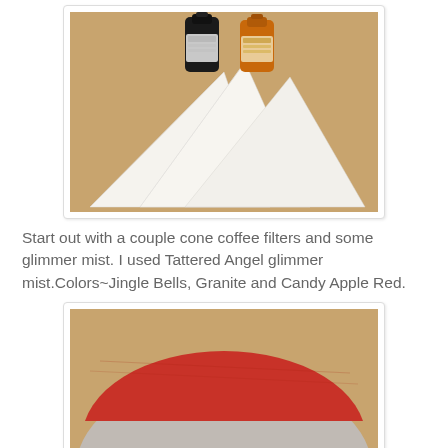[Figure (photo): Cone coffee filters (white, fan-shaped) and two bottles of glimmer mist on a tan/brown background.]
Start out with a couple cone coffee filters and some glimmer mist. I used Tattered Angel glimmer mist.Colors~Jingle Bells, Granite and Candy Apple Red.
[Figure (photo): Three cone coffee filters dyed in red (top), gray/granite (middle), and yellow (bottom), spread out on a tan/brown background.]